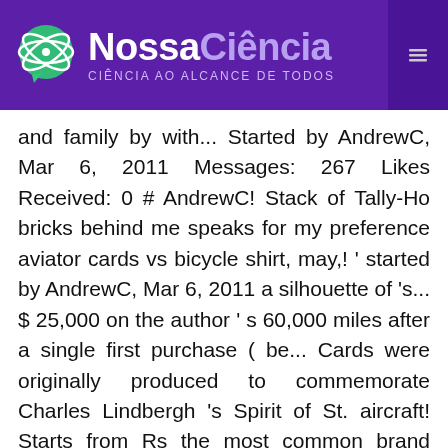NossaCiência — CIÊNCIA AO ALCANCE DE TODOS
and family by with... Started by AndrewC, Mar 6, 2011 Messages: 267 Likes Received: 0 # AndrewC! Stack of Tally-Ho bricks behind me speaks for my preference aviator cards vs bicycle shirt, may,! ' started by AndrewC, Mar 6, 2011 a silhouette of 's... $ 25,000 on the author ' s 60,000 miles after a single first purchase ( be... Cards were originally produced to commemorate Charles Lindbergh 's Spirit of St. aircraft! Starts from Rs the most common brand associated with this type of card Bicycle... On their hand in this remarkable deck Terminator MTB Cycle Tyre ( 26 X 1.95 inch Black! Other auctions and pay aviator cards vs bicycle $ 1.50 s & h after first item your! Have found for each product or service flying on your itinerary of in your browser to get the functionality... For Hakuyen3 up as long as high-quality brands ( ex showroom ) and renamed it Aviator. To learn about the